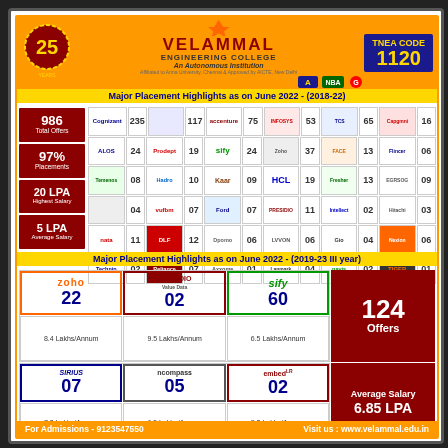VELAMMAL ENGINEERING COLLEGE - An Autonomous Institution
TNEA CODE 1120
Major Placement Highlights as on June 2022 - (2018-22)
| Stat | Company | Count |
| --- | --- | --- |
| 986 Total Offers | Cognizant 235 | 117 | Accenture 75 | 53 | 65 | 16 |
| 97% Placements | ALOS 24 | Prodept 19 | Sify 24 | 37 | 13 | 06 |
| 20 LPA Highest Salary | 08 | Hadro 10 | Kaar 09 | HCL 19 | 13 | 09 |
| 5 LPA Average Salary | 04 | Vufbm 07 | Ford 07 | Presidio 11 | Intellect 02 | 03 |
|  | Naka 11 | 12 | Dpomo 06 | VVON 06 | 04 | 06 |
|  | Technip 02 | 07 | 01 | 04 | Navis 02 | Tiger 01 |
Major Placement Highlights as on June 2022 - (2019-23 III year)
| Company | Count | Salary |
| --- | --- | --- |
| Zoho | 22 | 8.4 Lakhs/Annum |
| Presidio | 02 | 9.5 Lakhs/Annum |
| Sify | 60 | 6.5 Lakhs/Annum |
| 124 Offers |  |  |
| Sirius | 07 | 7.0 Lakhs/Annum |
| ncompass | 05 | 6.5 Lakhs/Annum |
| embed(LR) | 02 | 8.0 Lakhs/Annum |
| Average Salary 6.85 LPA |  |  |
| Backward Power | 05 | 6.0 Lakhs/Annum |
| Kaar | 17 | 8.1 Lakhs/Annum |
| CodingMart | 02 | 7.5 Lakhs/Annum |
| Placement Still Continues........... |  |  |
Courses Offered
B.E. AUTOMOBILE, CIVIL, CSE, ECE, EEE, EIE, MECHANICAL
B.Tech. IT , AI & DS
M.E. CSE, POWER SYSTEMS & MBA
For Admissions - 9123547550   Visit us : www.velammal.edu.in